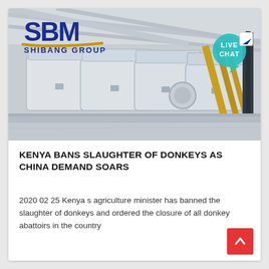[Figure (photo): Industrial machinery (conveyor/processing equipment) in a facility, used as website header background image. SBM Shibang Group logo overlaid top-left. Live Chat bubble overlaid top-right.]
KENYA BANS SLAUGHTER OF DONKEYS AS CHINA DEMAND SOARS
2020 02 25 Kenya s agriculture minister has banned the slaughter of donkeys and ordered the closure of all donkey abattoirs in the country